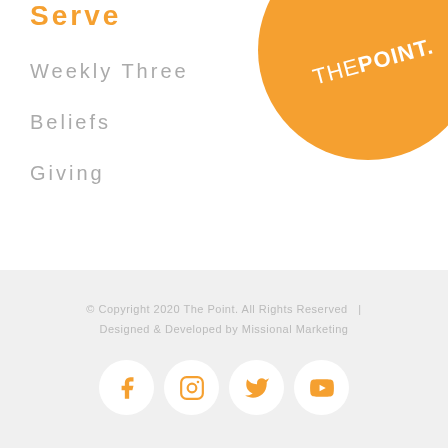Serve
Weekly Three
Beliefs
Giving
[Figure (logo): Orange circle logo with text THE POINT.]
© Copyright 2020 The Point. All Rights Reserved  |  Designed & Developed by Missional Marketing
[Figure (illustration): Social media icons: Facebook, Instagram, Twitter, YouTube in orange on white circles]